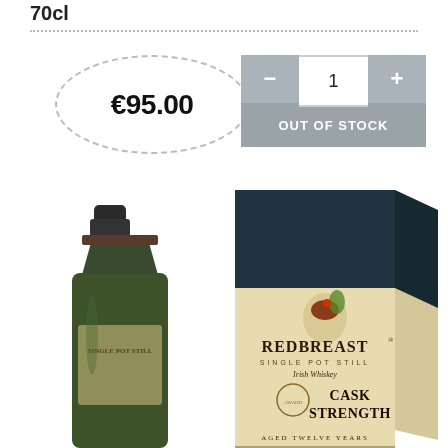70cl
€95.00
1
OUT OF STOCK
[Figure (photo): Bottom portion of a Redbreast Single Pot Still Irish Whiskey Cask Strength 12 Year bottle next to its box packaging. The bottle shows a dark green glass with a brown capsule and label visible. The box has a cream/tan lower half with teal upper, showing the Redbreast robin bird logo, text REDBREAST SINGLE POT STILL Irish Whiskey CASK STRENGTH and AGED TWELVE YEARS.]